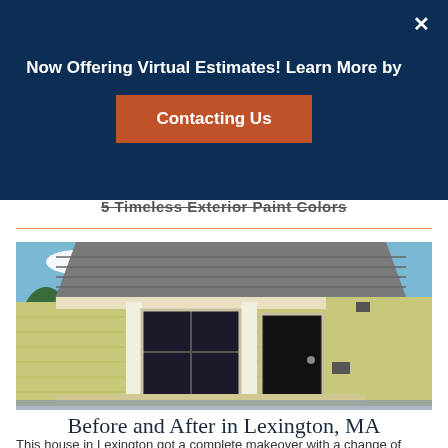Now Offering Virtual Estimates! Learn More by Contacting Us
5 Timeless Exterior Paint Colors
[Figure (photo): Front exterior of a house in Lexington, MA with white columns, dark windows and door, yellow-green siding, and grey shingle roof]
Before and After in Lexington, MA
This house in Lexington got a complete makeover with a change of